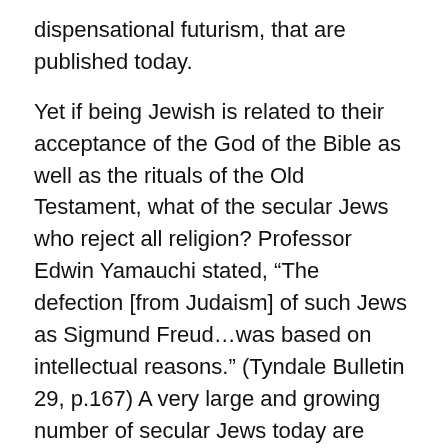dispensational futurism, that are published today.
Yet if being Jewish is related to their acceptance of the God of the Bible as well as the rituals of the Old Testament, what of the secular Jews who reject all religion? Professor Edwin Yamauchi stated, “The defection [from Judaism] of such Jews as Sigmund Freud…was based on intellectual reasons.” (Tyndale Bulletin 29, p.167) A very large and growing number of secular Jews today are non-religious.
The growing battle within Judaism over who is a Jew is reminiscent of a similar bitter struggle that took place during the first century between the Pharisee and Sadducee sects. The Sadducees were